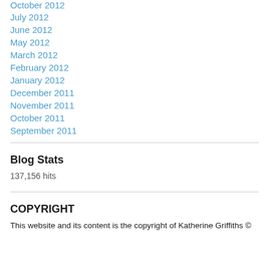October 2012
July 2012
June 2012
May 2012
March 2012
February 2012
January 2012
December 2011
November 2011
October 2011
September 2011
Blog Stats
137,156 hits
COPYRIGHT
This website and its content is the copyright of Katherine Griffiths ©